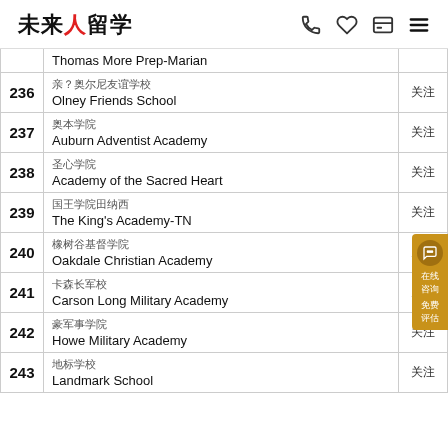未来人留学
| # | 学校名称 | 状态 |
| --- | --- | --- |
|  | Thomas More Prep-Marian |  |
| 236 | 亲？奥尔尼友谊学校 / Olney Friends School | 关注 |
| 237 | 奥本学院 / Auburn Adventist Academy | 关注 |
| 238 | 圣心学院 / Academy of the Sacred Heart | 关注 |
| 239 | 国王学院田纳西 / The King's Academy-TN | 关注 |
| 240 | 橡树谷基督学院 / Oakdale Christian Academy | 关注 |
| 241 | 卡森长军校 / Carson Long Military Academy | 关注 |
| 242 | 豪军事学院 / Howe Military Academy | 关注 |
| 243 | 地标学校 / Landmark School | 关注 |